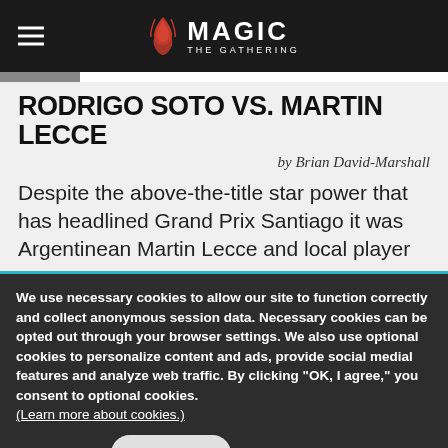MAGIC THE GATHERING
RODRIGO SOTO VS. MARTIN LECCE
by Brian David-Marshall
Despite the above-the-title star power that has headlined Grand Prix Santiago it was Argentinean Martin Lecce and local player
We use necessary cookies to allow our site to function correctly and collect anonymous session data. Necessary cookies can be opted out through your browser settings. We also use optional cookies to personalize content and ads, provide social medial features and analyze web traffic. By clicking “OK, I agree,” you consent to optional cookies. (Learn more about cookies.)
OK, I agree   No, thanks